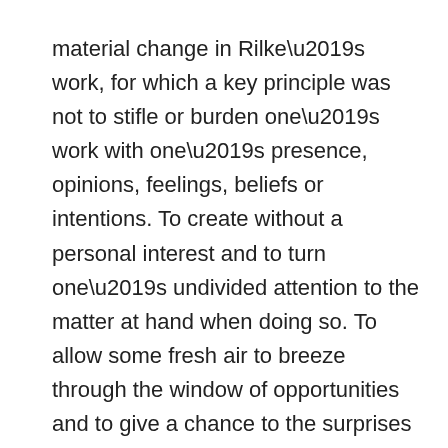material change in Rilke’s work, for which a key principle was not to stifle or burden one’s work with one’s presence, opinions, feelings, beliefs or intentions. To create without a personal interest and to turn one’s undivided attention to the matter at hand when doing so. To allow some fresh air to breeze through the window of opportunities and to give a chance to the surprises that will surely follow. This is the realm of my own work.
‘Being there’ – these are the two magic words that comprise the whole essence of my work and the motto of how I involve myself in art as